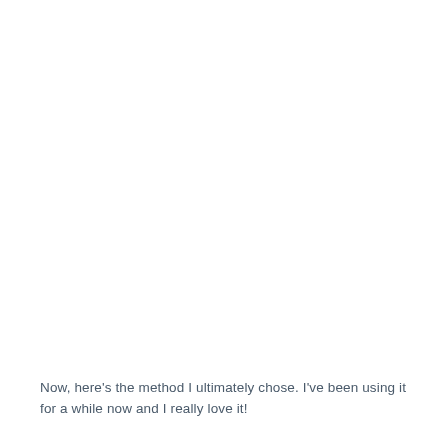Now, here's the method I ultimately chose. I've been using it for a while now and I really love it!